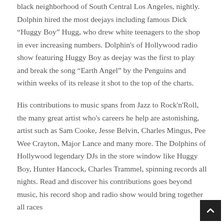black neighborhood of South Central Los Angeles, nightly. Dolphin hired the most deejays including famous Dick “Huggy Boy” Hugg, who drew white teenagers to the shop in ever increasing numbers. Dolphin's of Hollywood radio show featuring Huggy Boy as deejay was the first to play and break the song “Earth Angel” by the Penguins and within weeks of its release it shot to the top of the charts.
His contributions to music spans from Jazz to Rock'n'Roll, the many great artist who's careers he help are astonishing, artist such as Sam Cooke, Jesse Belvin, Charles Mingus, Pee Wee Crayton, Major Lance and many more. The Dolphins of Hollywood legendary DJs in the store window like Huggy Boy, Hunter Hancock, Charles Trammel, spinning records all nights. Read and discover his contributions goes beyond music, his record shop and radio show would bring together all races